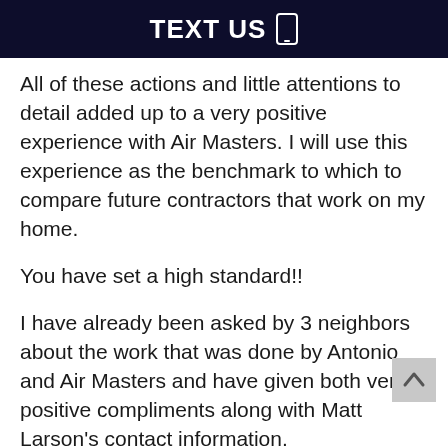TEXT US
All of these actions and little attentions to detail added up to a very positive experience with Air Masters. I will use this experience as the benchmark to which to compare future contractors that work on my home.
You have set a high standard!!
I have already been asked by 3 neighbors about the work that was done by Antonio and Air Masters and have given both very positive compliments along with Matt Larson's contact information.
I will happily pass along my compliments